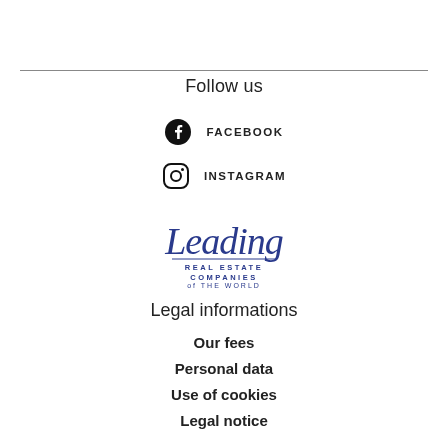Follow us
FACEBOOK
INSTAGRAM
[Figure (logo): Leading Real Estate Companies of the World logo in blue script and serif text]
Legal informations
Our fees
Personal data
Use of cookies
Legal notice